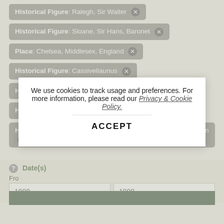Historical Figure: Ralegh, Sir Walter ✕
Historical Figure: Sloane, Sir Hans, Baronet ✕
Place: Chelsea, Middlesex, England ✕
Historical Figure: Cassivellaunus ✕
Historical Figure: Elizabeth I ✕
Historical Figure: Charles Ii ✕
Historical Figure: Cheyne, William, Second Viscount Newhaven ✕
Date(s)
From
1908	1908
We use cookies to track usage and preferences. For more information, please read our Privacy & Cookie Policy.
ACCEPT